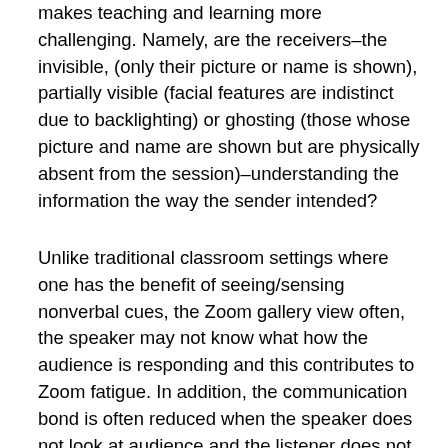makes teaching and learning more challenging. Namely, are the receivers–the invisible, (only their picture or name is shown), partially visible (facial features are indistinct due to backlighting) or ghosting (those whose picture and name are shown but are physically absent from the session)–understanding the information the way the sender intended?
Unlike traditional classroom settings where one has the benefit of seeing/sensing nonverbal cues, the Zoom gallery view often, the speaker may not know what how the audience is responding and this contributes to Zoom fatigue. In addition, the communication bond is often reduced when the speaker does not look at audience and the listener does not respond to the speaker with facial expressions. Zoom fatigue can also be reduced when online teaching tools are used appropriately by involving